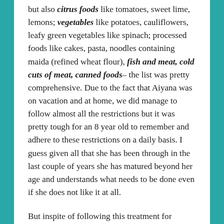but also citrus foods like tomatoes, sweet lime, lemons; vegetables like potatoes, cauliflowers, leafy green vegetables like spinach; processed foods like cakes, pasta, noodles containing maida (refined wheat flour), fish and meat, cold cuts of meat, canned foods– the list was pretty comprehensive. Due to the fact that Aiyana was on vacation and at home, we did manage to follow almost all the restrictions but it was pretty tough for an 8 year old to remember and adhere to these restrictions on a daily basis. I guess given all that she has been through in the last couple of years she has matured beyond her age and understands what needs to be done even if she does not like it at all.
But inspite of following this treatment for almost 2 months, there was no marked improvement